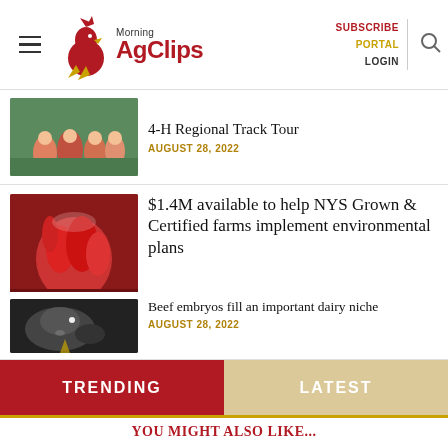Morning AgClips — SUBSCRIBE PORTAL LOGIN
[Figure (photo): Thumbnail image of children at 4-H Regional Track Tour event]
4-H Regional Track Tour
AUGUST 28, 2022
[Figure (photo): Thumbnail image of fresh red radishes and vegetables]
$1.4M available to help NYS Grown & Certified farms implement environmental plans
AUGUST 28, 2022
[Figure (photo): Thumbnail black and white image of a beef cow]
Beef embryos fill an important dairy niche
AUGUST 28, 2022
TRENDING
LATEST
YOU MIGHT ALSO LIKE...